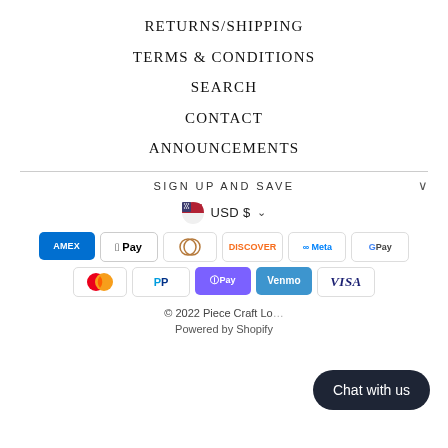RETURNS/SHIPPING
TERMS & CONDITIONS
SEARCH
CONTACT
ANNOUNCEMENTS
SIGN UP AND SAVE
USD $
[Figure (other): Payment method icons: American Express, Apple Pay, Diners Club, Discover, Meta Pay, Google Pay, Mastercard, PayPal, Shop Pay, Venmo, Visa]
© 2022 Piece Craft Lo…
Powered by Shopify